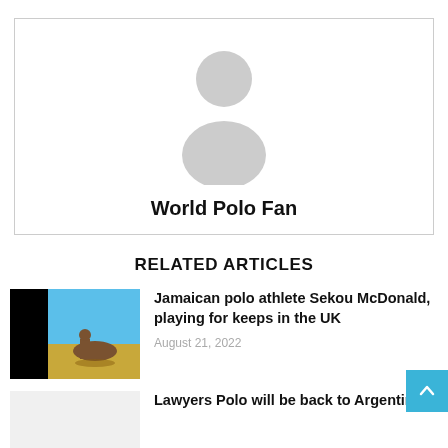[Figure (illustration): Generic user avatar placeholder — grey silhouette of a person on white background, inside a bordered card. Below the avatar: bold text 'World Polo Fan'.]
World Polo Fan
RELATED ARTICLES
[Figure (photo): Polo player on horseback in a field under a blue sky, with black borders on the left side of the thumbnail.]
Jamaican polo athlete Sekou McDonald, playing for keeps in the UK
August 21, 2022
[Figure (photo): Partially visible light grey placeholder thumbnail for the second article about Lawyers Polo.]
Lawyers Polo will be back to Argentina